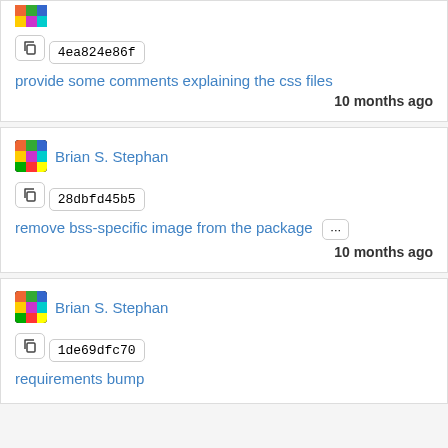[Figure (screenshot): Top card partial: avatar image, copy button, hash box '4ea824e86f', commit link 'provide some comments explaining the css files', timestamp '10 months ago']
[Figure (screenshot): Middle card: Brian S. Stephan avatar and name, copy button, hash box '28dbfd45b5', commit link 'remove bss-specific image from the package' with ellipsis button, timestamp '10 months ago']
[Figure (screenshot): Bottom card: Brian S. Stephan avatar and name, copy button, hash box '1de69dfc70', commit link 'requirements bump']